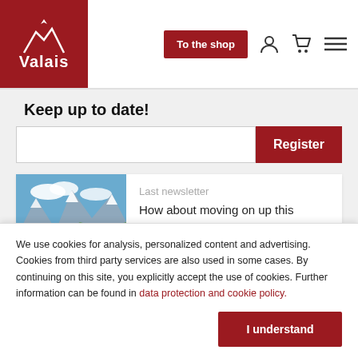Valais
Keep up to date!
Register
[Figure (photo): Mountain landscape photo showing alpine peaks with snow, green valley below, and blue sky with clouds - used as newsletter thumbnail]
Last newsletter
How about moving on up this summer?
We use cookies for analysis, personalized content and advertising. Cookies from third party services are also used in some cases. By continuing on this site, you explicitly accept the use of cookies. Further information can be found in data protection and cookie policy.